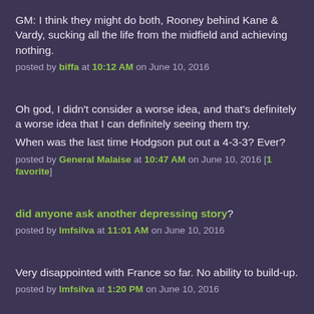GM: I think they might do both, Rooney behind Kane & Vardy, sucking all the life from the midfield and achieving nothing.
posted by biffa at 10:12 AM on June 10, 2016
Oh god, I didn't consider a worse idea, and that's definitely a worse idea that I can definitely seeing them try.

When was the last time Hodgson put out a 4-3-3? Ever?
posted by General Malaise at 10:47 AM on June 10, 2016 [1 favorite]
did anyone ask another depressing story?
posted by lmfsilva at 11:01 AM on June 10, 2016
Very disappointed with France so far. No ability to build-up.
posted by lmfsilva at 1:20 PM on June 10, 2016